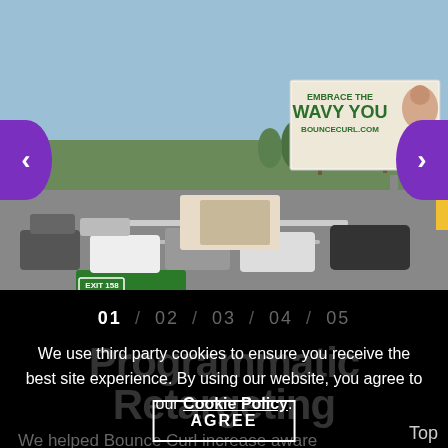[Figure (photo): Highway scene with cars in traffic, green directional signs (EXIT 158, Warner Rd.), palm trees and desert vegetation, and a large digital billboard showing 'EMBRACE THE WAVY YOU BOUNCECURL.COM' with a woman's image. Purple navigation arrows on left and right sides of the image carousel.]
01 / 02 / 03 / 04 / 05
Programmatic Retargeting
We use third party cookies to ensure you receive the best site experience. By using our website, you agree to our Cookie Policy.
AGREE
Top
We helped Bounce Curl increase awareness using programmatic DOOH and Mobile